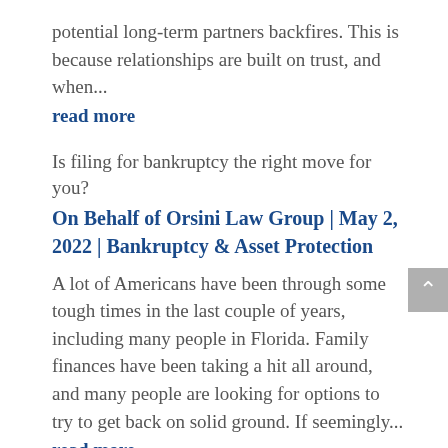potential long-term partners backfires. This is because relationships are built on trust, and when...
read more
Is filing for bankruptcy the right move for you?
On Behalf of Orsini Law Group | May 2, 2022 | Bankruptcy & Asset Protection
A lot of Americans have been through some tough times in the last couple of years, including many people in Florida. Family finances have been taking a hit all around, and many people are looking for options to try to get back on solid ground. If seemingly...
read more